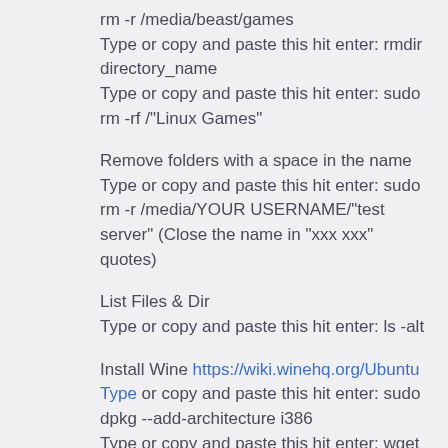rm -r /media/beast/games
Type or copy and paste this hit enter: rmdir directory_name
Type or copy and paste this hit enter: sudo rm -rf /"Linux Games"
Remove folders with a space in the name
Type or copy and paste this hit enter: sudo rm -r /media/YOUR USERNAME/"test server" (Close the name in "xxx xxx" quotes)
List Files & Dir
Type or copy and paste this hit enter: ls -alt
Install Wine https://wiki.winehq.org/Ubuntu Type or copy and paste this hit enter: sudo dpkg --add-architecture i386
Type or copy and paste this hit enter: wget -nc https://dl.winehq.org/wine-builds/winehq.key
Type or copy and paste this hit enter: sudo apt-key add winehq.key
Add the repository:
Ubuntu 19.04 Type or copy and paste this